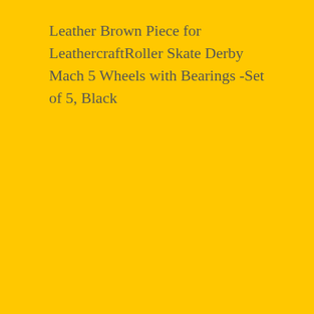Leather Brown Piece for LeathercraftRoller Skate Derby Mach 5 Wheels with Bearings -Set of 5, Black